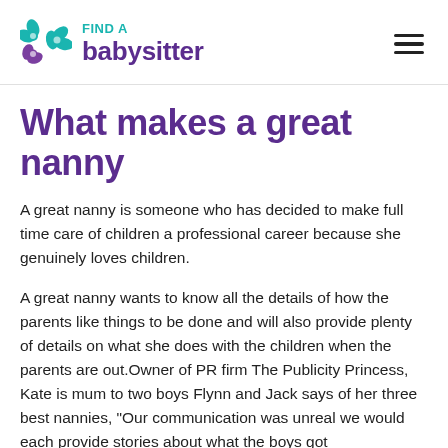FIND A babysitter
What makes a great nanny
A great nanny is someone who has decided to make full time care of children a professional career because she genuinely loves children.
A great nanny wants to know all the details of how the parents like things to be done and will also provide plenty of details on what she does with the children when the parents are out.Owner of PR firm The Publicity Princess, Kate is mum to two boys Flynn and Jack says of her three best nannies, "Our communication was unreal we would each provide stories about what the boys got